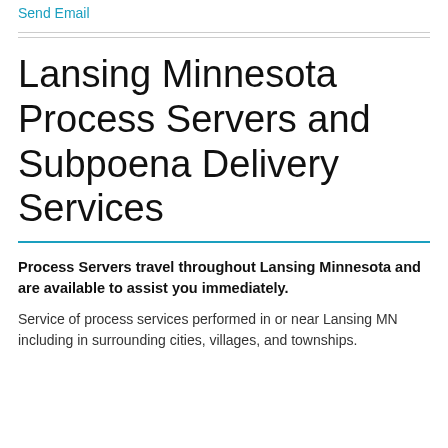Send Email
Lansing Minnesota Process Servers and Subpoena Delivery Services
Process Servers travel throughout Lansing Minnesota and are available to assist you immediately.
Service of process services performed in or near Lansing MN including in surrounding cities, villages, and townships.